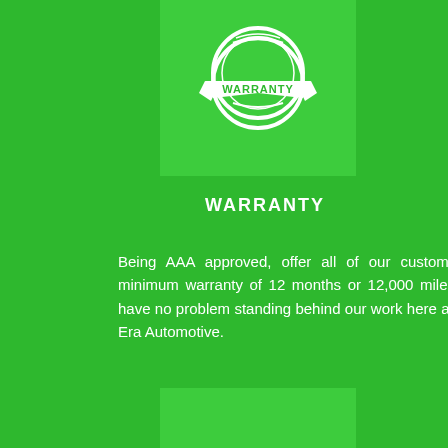[Figure (logo): Warranty badge/seal logo — a circular emblem with ribbon banner showing the word WARRANTY, white on green background]
WARRANTY
Being AAA approved, offer all of our customers a minimum warranty of 12 months or 12,000 miles. We have no problem standing behind our work here at New Era Automotive.
ST
Our t or ha certifi mean servic profes
[Figure (logo): Partially visible icon box at bottom of page]